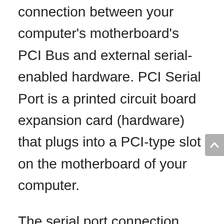connection between your computer's motherboard's PCI Bus and external serial-enabled hardware. PCI Serial Port is a printed circuit board expansion card (hardware) that plugs into a PCI-type slot on the motherboard of your computer.
The serial port connection consists of a 9-pin D-Sub connector, which was once used to connect a mouse, joystick, video, or modem to a serial port on earlier computers. Serial ports have been phased out in exchange for USB and Fireware interfaces. Many adapters are available that can convert serial ports to USB ports, but they all